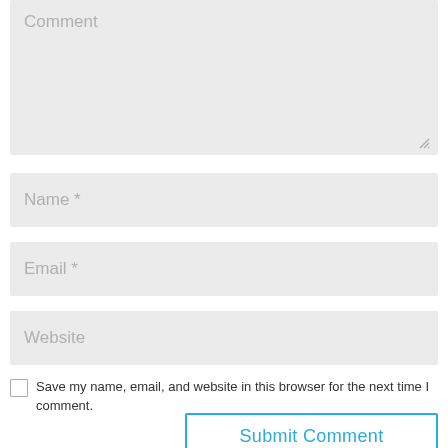[Figure (screenshot): Comment text area input field with placeholder text 'Comment' and a resize handle in bottom right corner]
[Figure (screenshot): Name input field with placeholder text 'Name *']
[Figure (screenshot): Email input field with placeholder text 'Email *']
[Figure (screenshot): Website input field with placeholder text 'Website']
Save my name, email, and website in this browser for the next time I comment.
Submit Comment